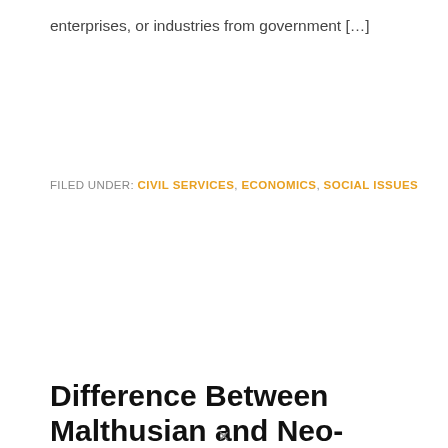enterprises, or industries from government […]
FILED UNDER: CIVIL SERVICES, ECONOMICS, SOCIAL ISSUES
Difference Between Malthusian and Neo-Malthusian
BY SOCIOLOGY GROUP